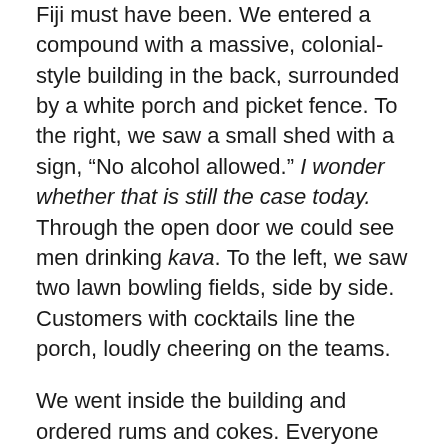Fiji must have been. We entered a compound with a massive, colonial-style building in the back, surrounded by a white porch and picket fence. To the right, we saw a small shed with a sign, “No alcohol allowed.” I wonder whether that is still the case today. Through the open door we could see men drinking kava. To the left, we saw two lawn bowling fields, side by side. Customers with cocktails line the porch, loudly cheering on the teams.
We went inside the building and ordered rums and cokes. Everyone was friendly. All the “planters” we met were Fijian—the best-dressed and most cosmopolitan Fijians we had ever seen! No fraying 1950s-style muumuu dresses for these women: I noticed that one wore a black silk top with black-and-white vertically striped pantaloons. Her hair was straight, cropped short, and swept behind the ears. Smart! Günter couldn’t help but notice how a full-